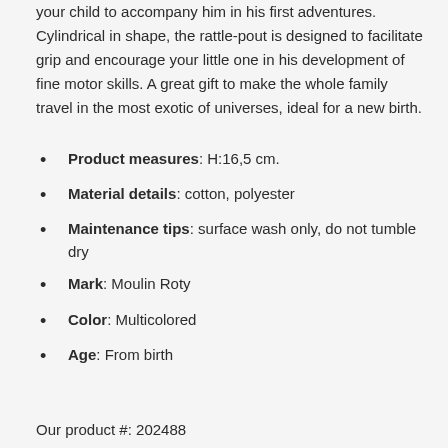your child to accompany him in his first adventures. Cylindrical in shape, the rattle-pout is designed to facilitate grip and encourage your little one in his development of fine motor skills. A great gift to make the whole family travel in the most exotic of universes, ideal for a new birth.
Product measures: H:16,5 cm.
Material details: cotton, polyester
Maintenance tips: surface wash only, do not tumble dry
Mark: Moulin Roty
Color: Multicolored
Age: From birth
Our product #: 202488